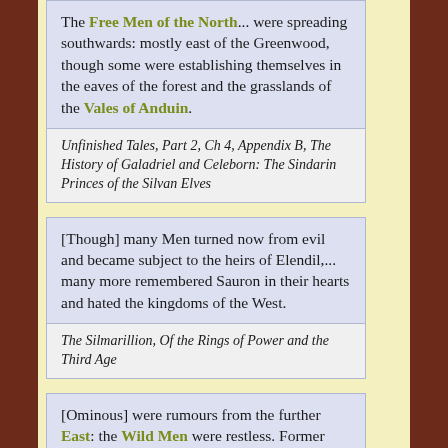The Free Men of the North... were spreading southwards: mostly east of the Greenwood, though some were establishing themselves in the eaves of the forest and the grasslands of the Vales of Anduin.
Unfinished Tales, Part 2, Ch 4, Appendix B, The History of Galadriel and Celeborn: The Sindarin Princes of the Silvan Elves
[Though] many Men turned now from evil and became subject to the heirs of Elendil,... many more remembered Sauron in their hearts and hated the kingdoms of the West.
The Silmarillion, Of the Rings of Power and the Third Age
[Ominous] were rumours from the further East: the Wild Men were restless. Former servants and